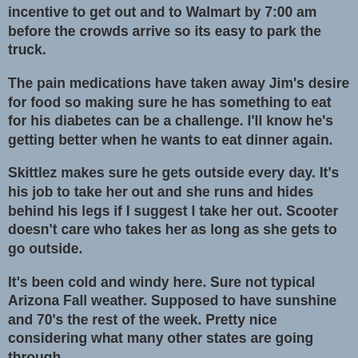incentive to get out and to Walmart by 7:00 am before the crowds arrive so its easy to park the truck.
The pain medications have taken away Jim's desire for food so making sure he has something to eat for his diabetes can be a challenge. I'll know he's getting better when he wants to eat dinner again.
Skittlez makes sure he gets outside every day. It's his job to take her out and she runs and hides behind his legs if I suggest I take her out. Scooter doesn't care who takes her as long as she gets to go outside.
It's been cold and windy here. Sure not typical Arizona Fall weather. Supposed to have sunshine and 70's the rest of the week. Pretty nice considering what many other states are going through.
Hard to believe that Thanksgiving is next week. But boy am I looking forward to having some turkey.
Posted by Jim and Sandie at 5:15 PM  21 comments
TUESDAY, NOVEMBER 10, 2015